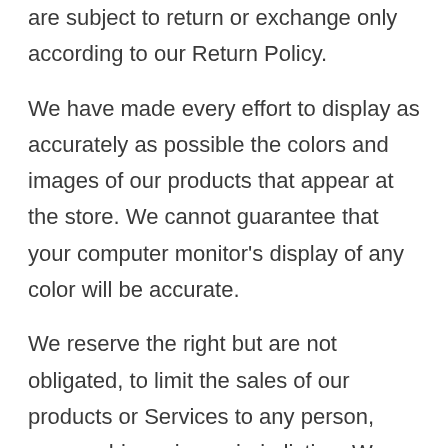are subject to return or exchange only according to our Return Policy. We have made every effort to display as accurately as possible the colors and images of our products that appear at the store. We cannot guarantee that your computer monitor's display of any color will be accurate. We reserve the right but are not obligated, to limit the sales of our products or Services to any person, geographic region or jurisdiction. We may exercise this right on a case-by-case basis. We reserve the right to limit the quantities of any products or services that we offer. All descriptions of products or product pricing are subject to change at any time without notice, at the sole discretion of us. We reserve the